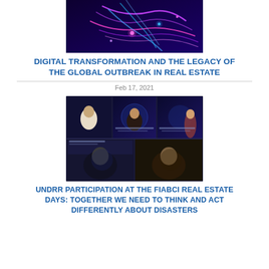[Figure (photo): Abstract digital transformation image with colorful neon lines and shapes on dark background]
DIGITAL TRANSFORMATION AND THE LEGACY OF THE GLOBAL OUTBREAK IN REAL ESTATE
Feb 17, 2021
[Figure (photo): Video conference screenshot showing five participants in an online panel discussion, with globe images in background on dark blue backdrop]
UNDRR PARTICIPATION AT THE FIABCI REAL ESTATE DAYS: TOGETHER WE NEED TO THINK AND ACT DIFFERENTLY ABOUT DISASTERS